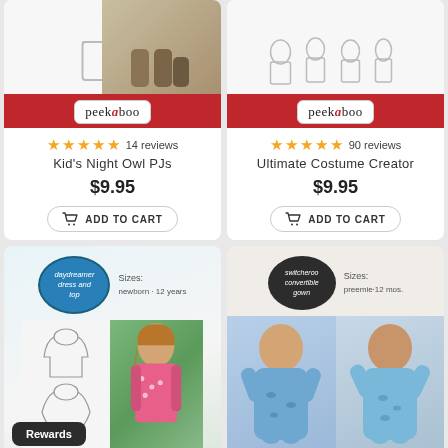[Figure (screenshot): Peekaboo Pattern Shop product card: Kid's Night Owl PJs, 5 stars, 14 reviews, $9.95, ADD TO CART button]
[Figure (screenshot): Peekaboo Pattern Shop product card: Ultimate Costume Creator, 5 stars, 90 reviews, $9.95, ADD TO CART button]
[Figure (screenshot): Product card: Daydreamer Dress and Top sewing pattern, Sizes newborn-12 years, with dress sketches and photo of girl]
[Figure (screenshot): Product card: Switcheroo Convertible Gown, Sizes preemie-12 mos., with photos of babies in gown]